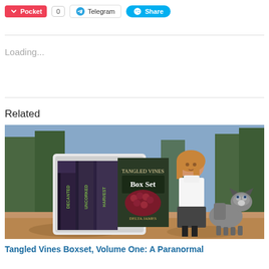[Figure (other): Social sharing buttons: Pocket (red), count box showing 0, Telegram button, Share button (blue)]
Loading...
Related
[Figure (photo): Book cover box set for Tangled Vines by Delta James showing titles Harvest, Uncorked, Decanted, with a woman in white turtleneck and leather skirt standing with a husky dog in a park setting]
Tangled Vines Boxset, Volume One: A Paranormal